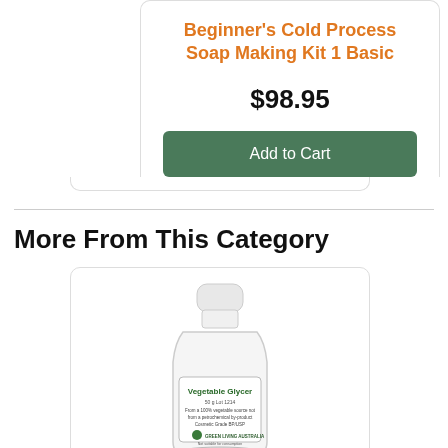Beginner's Cold Process Soap Making Kit 1 Basic
$98.95
Add to Cart
More From This Category
[Figure (photo): White plastic bottle of Vegetable Glycerin with a label showing Vegetable Glycerin, Green Living Australia branding, cosmetic grade product]